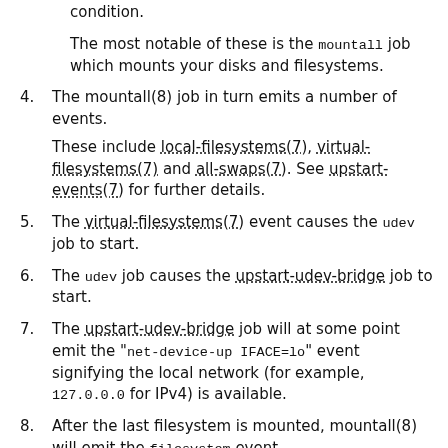condition.
The most notable of these is the mountall job which mounts your disks and filesystems.
4. The mountall(8) job in turn emits a number of events.

These include local-filesystems(7), virtual-filesystems(7) and all-swaps(7). See upstart-events(7) for further details.
5. The virtual-filesystems(7) event causes the udev job to start.
6. The udev job causes the upstart-udev-bridge job to start.
7. The upstart-udev-bridge job will at some point emit the "net-device-up IFACE=lo" event signifying the local network (for example, 127.0.0.0 for IPv4) is available.
8. After the last filesystem is mounted, mountall(8) will emit the filesystem event.